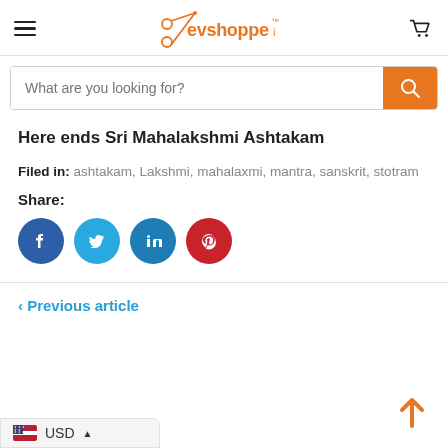[Figure (logo): Evshopper logo with orange scissors icon and brand name in orange text]
What are you looking for?
Here ends Sri Mahalakshmi Ashtakam
Filed in:  ashtakam,  Lakshmi,  mahalaxmi,  mantra,  sanskrit,  stotram
Share:
[Figure (infographic): Social media share icons: Facebook (dark blue circle), Twitter (light blue circle), LinkedIn (teal blue circle), Pinterest (red circle)]
< Previous article
USD